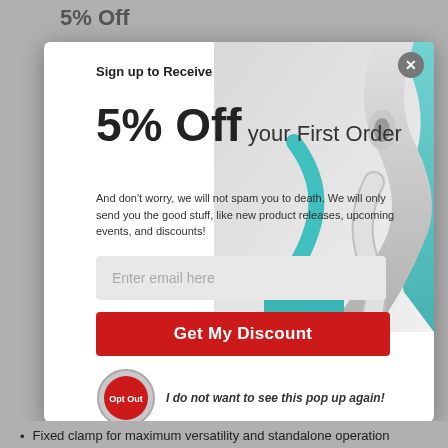5% Off your First Order
[Figure (screenshot): CablesPlus USA email signup popup modal with cable image background, email input field, Get My Discount button, and Opt Out option]
Sign up to Receive
5% Off your First Order
And don't worry, we will not spam you to death. We will only send you the good stuff, like new product releases, upcoming events, and discounts!
Enter email here
Get My Discount
I do not want to see this pop up again!
Fixed clamp for maximum versatility and standalone operation